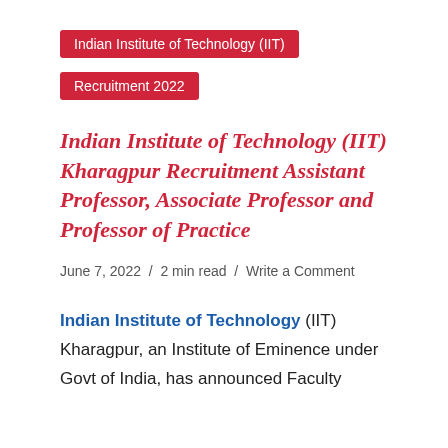Indian Institute of Technology (IIT)
Recruitment 2022
Indian Institute of Technology (IIT) Kharagpur Recruitment Assistant Professor, Associate Professor and Professor of Practice
June 7, 2022  /  2 min read  /  Write a Comment
Indian Institute of Technology (IIT) Kharagpur, an Institute of Eminence under Govt of India, has announced Faculty